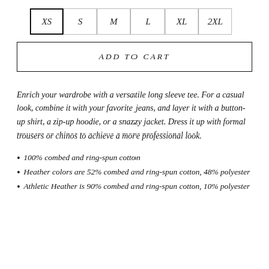| XS | S | M | L | XL | 2XL |
| --- | --- | --- | --- | --- | --- |
ADD TO CART
Enrich your wardrobe with a versatile long sleeve tee. For a casual look, combine it with your favorite jeans, and layer it with a button-up shirt, a zip-up hoodie, or a snazzy jacket. Dress it up with formal trousers or chinos to achieve a more professional look.
100% combed and ring-spun cotton
Heather colors are 52% combed and ring-spun cotton, 48% polyester
Athletic Heather is 90% combed and ring-spun cotton, 10% polyester